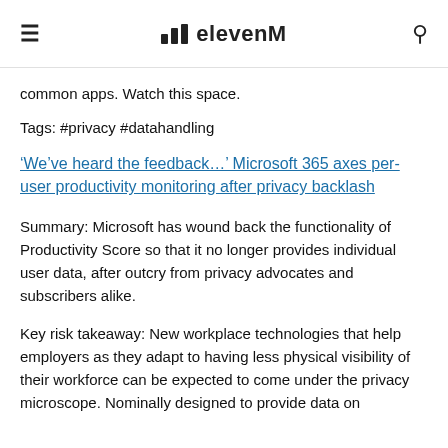≡  elevenM  🔍
common apps. Watch this space.
Tags: #privacy #datahandling
'We've heard the feedback…' Microsoft 365 axes per-user productivity monitoring after privacy backlash
Summary: Microsoft has wound back the functionality of Productivity Score so that it no longer provides individual user data, after outcry from privacy advocates and subscribers alike.
Key risk takeaway: New workplace technologies that help employers as they adapt to having less physical visibility of their workforce can be expected to come under the privacy microscope. Nominally designed to provide data on